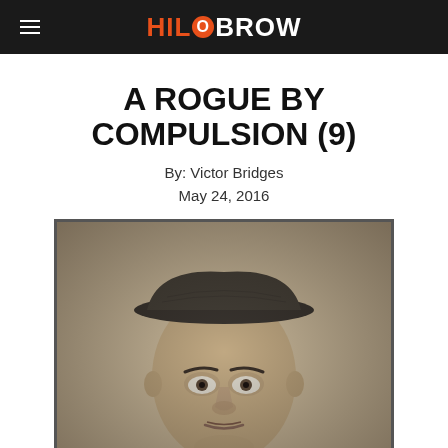HiloBrow
A ROGUE BY COMPULSION (9)
By: Victor Bridges
May 24, 2016
[Figure (photo): Black and white vintage mugshot-style photograph of a young man wearing a flat cap, looking directly at the camera with a serious expression.]